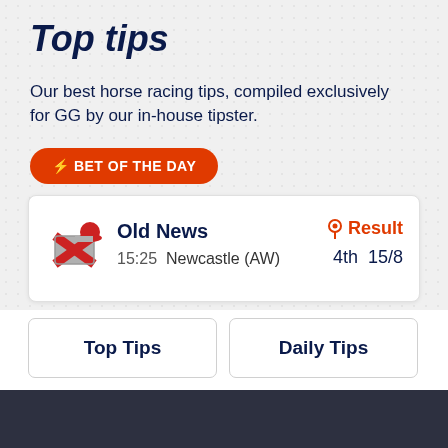Top tips
Our best horse racing tips, compiled exclusively for GG by our in-house tipster.
⚡ BET OF THE DAY
| Horse | Time | Venue | Status | Position | Odds |
| --- | --- | --- | --- | --- | --- |
| Old News | 15:25 | Newcastle (AW) | Result | 4th | 15/8 |
Top Tips
Daily Tips
We use cookies to ensure that we give you the best experience on our website. If you continue to use this site we will assume that you are happy with it.
Ok
Privacy policy